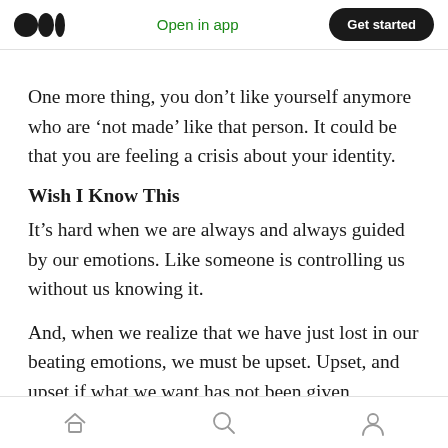Open in app  Get started
One more thing, you don't like yourself anymore who are 'not made' like that person. It could be that you are feeling a crisis about your identity.
Wish I Know This
It's hard when we are always and always guided by our emotions. Like someone is controlling us without us knowing it.
And, when we realize that we have just lost in our beating emotions, we must be upset. Upset, and upset if what we want has not been given
Home  Search  Profile